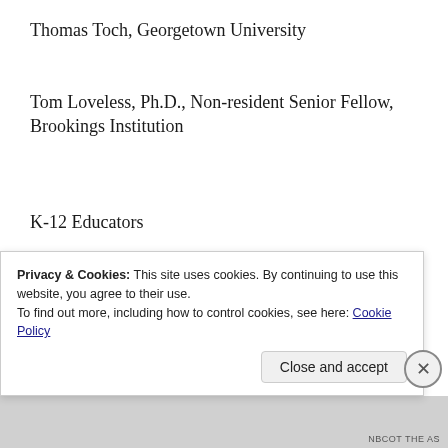Thomas Toch, Georgetown University
Tom Loveless, Ph.D., Non-resident Senior Fellow, Brookings Institution
K-12 Educators
Alexander McNaughton, History Teacher, YES Prep Charter School, Houston, TX
Andrea Wood Reynolds, District Testing
Privacy & Cookies: This site uses cookies. By continuing to use this website, you agree to their use.
To find out more, including how to control cookies, see here: Cookie Policy
NBCOT THE AS